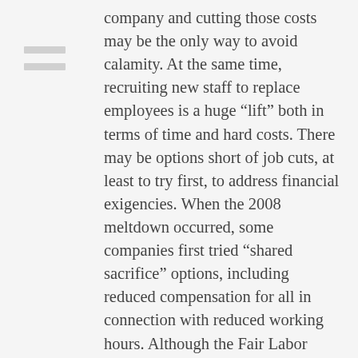company and cutting those costs may be the only way to avoid calamity. At the same time, recruiting new staff to replace employees is a huge “lift” both in terms of time and hard costs. There may be options short of job cuts, at least to try first, to address financial exigencies. When the 2008 meltdown occurred, some companies first tried “shared sacrifice” options, including reduced compensation for all in connection with reduced working hours. Although the Fair Labor Standards Act does not permit overtime-exempt employees to accept pay cuts based on the quantity of their work, the U.S. Department of Labor at that time recognized that a reduction for an extended period due to economic conditions was permissible, unlike weekly or